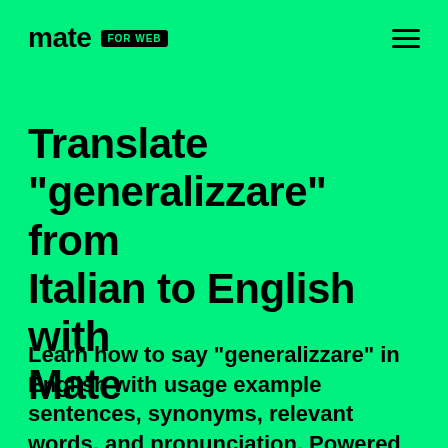mate FOR WEB
Translate "generalizzare" from Italian to English with Mate
Learn how to say "generalizzare" in English with usage example sentences, synonyms, relevant words, and pronunciation. Powered by Mate.